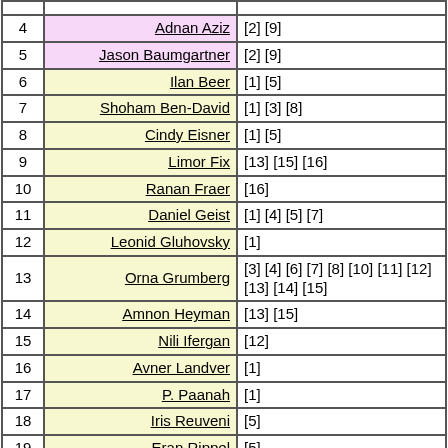| # | Name | References |
| --- | --- | --- |
| 4 | Adnan Aziz | [2] [9] |
| 5 | Jason Baumgartner | [2] [9] |
| 6 | Ilan Beer | [1] [5] |
| 7 | Shoham Ben-David | [1] [3] [8] |
| 8 | Cindy Eisner | [1] [5] |
| 9 | Limor Fix | [13] [15] [16] |
| 10 | Ranan Fraer | [16] |
| 11 | Daniel Geist | [1] [4] [5] [7] |
| 12 | Leonid Gluhovsky | [1] |
| 13 | Orna Grumberg | [3] [4] [6] [7] [8] [10] [11] [12] [13] [14] [15] |
| 14 | Amnon Heyman | [13] [15] |
| 15 | Nili Ifergan | [12] |
| 16 | Avner Landver | [1] |
| 17 | P. Paanah | [1] |
| 18 | Iris Reuveni | [5] |
| 19 | Eran Rippel | [5] |
| 20 | Yoav Rodeh | [1] |
| 21 | G. Ronin | [1] |